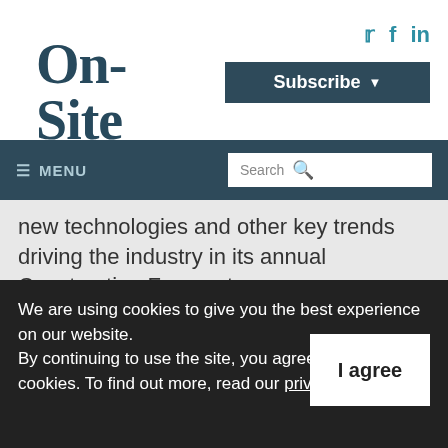On-Site
Subscribe
≡ MENU   Search
new technologies and other key trends driving the industry in its annual Construction Forecast.
View Report
We are using cookies to give you the best experience on our website. By continuing to use the site, you agree to the use of cookies. To find out more, read our privacy policy.
I agree